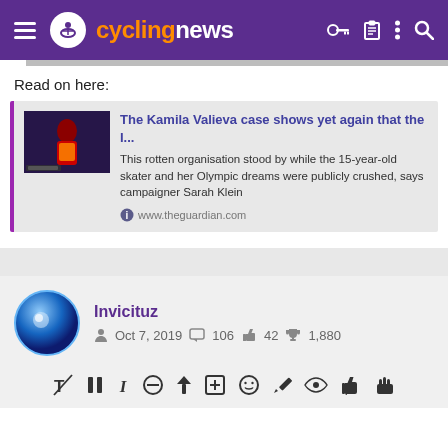cyclingnews
Read on here:
[Figure (screenshot): Link preview card for The Guardian article about Kamila Valieva case]
The Kamila Valieva case shows yet again that the I...
This rotten organisation stood by while the 15-year-old skater and her Olympic dreams were publicly crushed, says campaigner Sarah Klein
www.theguardian.com
Invicituz
Oct 7, 2019  106  42  1,880